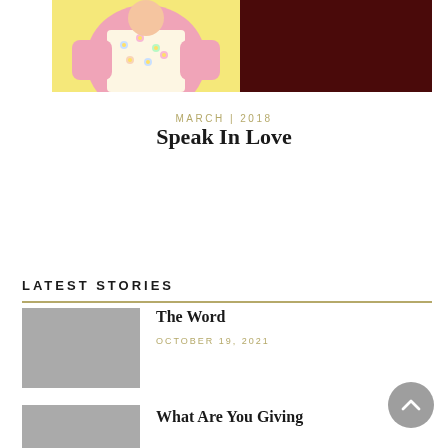[Figure (illustration): Top portion of an illustrated image showing a girl in a floral top/apron in yellow-pink tones on the left, and a dark maroon/brown panel on the right.]
MARCH | 2018
Speak In Love
LATEST STORIES
[Figure (photo): Gray placeholder thumbnail image for The Word article]
The Word
OCTOBER 19, 2021
[Figure (photo): Gray placeholder thumbnail image for What Are You Giving article]
What Are You Giving